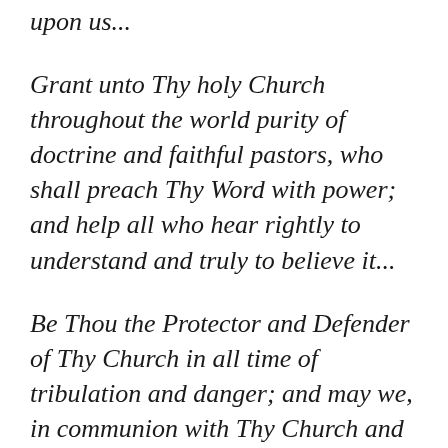upon us...
Grant unto Thy holy Church throughout the world purity of doctrine and faithful pastors, who shall preach Thy Word with power; and help all who hear rightly to understand and truly to believe it...
Be Thou the Protector and Defender of Thy Church in all time of tribulation and danger; and may we, in communion with Thy Church and in brotherly unity with all